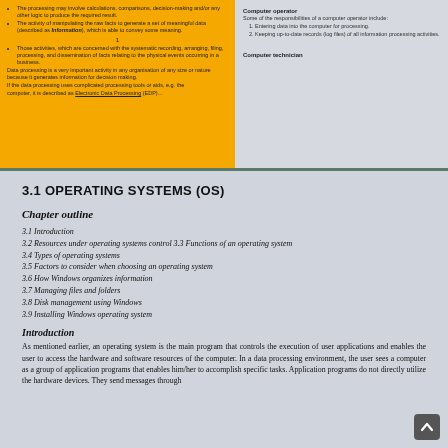The processing may involve calculations, comparisons, decision-making and/or any other logic to produce the required result.
The activity of manipulating the raw facts to generate a set of meaningful data (described as Information), which is able to convey some meaning.
Those activities, which are concerned with the systematic recording, arranging, filing, processing, and dissemination of facts relating to the physical events occurring in a business.
Data processing is a very important activity in any organisation of any size or nature because it generates information for decision making.
If the data processing uses complicated processing tools or aids, e.g. the computer, it is described as Electronic Data Processing (EDP).
Computer operator
Some of the responsibilities of a computer operator include:
1. Entering data into the computer for processing.
2. Keeping up-to-date records (log files) of all information processing activities.
Computer technician
3.1 OPERATING SYSTEMS (OS)
Chapter outline
3.1 Introduction
3.2 Resources under operating systems control 3.3 Functions of an operating system
3.4 Types of operating systems
3.5 Factors to consider when choosing an operating system
3.6 How Windows organizes information
3.7 Managing files and folders
3.8 Disk management using Windows
3.9 Installing Windows operating system
Introduction
As mentioned earlier, an operating system is the main program that controls the execution of user applications and enables the user to access the hardware and software resources of the computer. In a data processing environment, the user sees a computer as a group of application programs that enables him/her to accomplish specific tasks. Application programs do not directly utilize the hardware devices. They send messages through